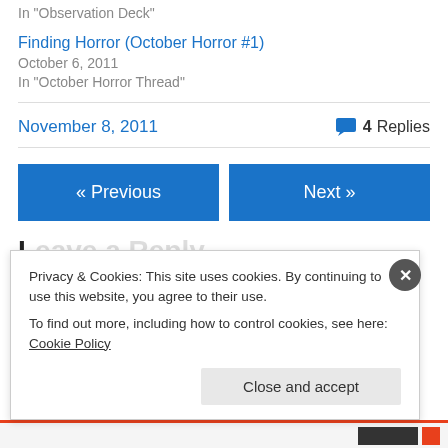In "Observation Deck"
Finding Horror (October Horror #1)
October 6, 2011
In "October Horror Thread"
November 8, 2011
4 Replies
« Previous
Next »
Privacy & Cookies: This site uses cookies. By continuing to use this website, you agree to their use.
To find out more, including how to control cookies, see here: Cookie Policy
Close and accept